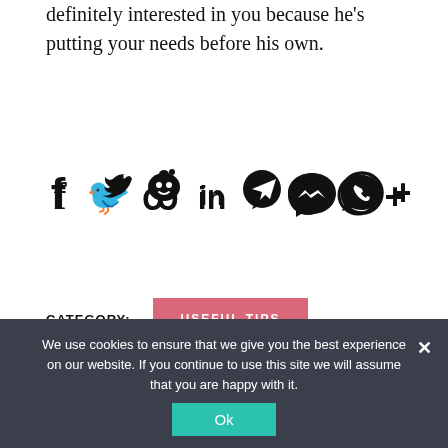definitely interested in you because he's putting your needs before his own.
[Figure (infographic): Row of social sharing icons: Facebook, Twitter, Reddit, LinkedIn, Telegram, Messenger, WhatsApp, and a plus sign]
CATEGORY:
USEFUL TIPS
← PREVIOUS ARTICLE
NEXT ARTICLE →
How do you cite when writing a...
How do you say you are good at...
We use cookies to ensure that we give you the best experience on our website. If you continue to use this site we will assume that you are happy with it.
Ok